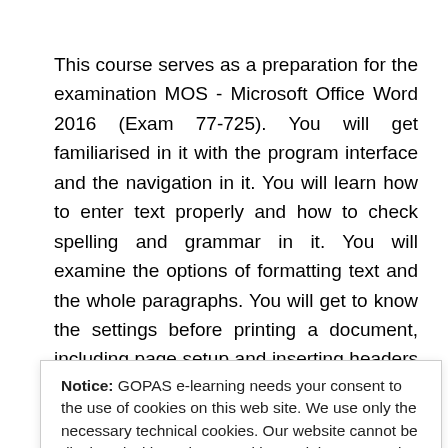This course serves as a preparation for the examination MOS - Microsoft Office Word 2016 (Exam 77-725). You will get familiarised in it with the program interface and the navigation in it. You will learn how to enter text properly and how to check spelling and grammar in it. You will examine the options of formatting text and the whole paragraphs. You will get to know the settings before printing a document, including page setup and inserting headers and footers into the document pages, you will learn to adjust the program environment to your specific needs. You will try effective formatting of text by using styles. You will apply the template interactively. You will find out about the reusable document entries. You will work with the design of documents and formatting of tables to enter data or a list of records. You will learn to insert graphical objects to documents, including pictures, charts, SmartArt graphics and shapes and you will try out their further editing directly in
Notice: GOPAS e-learning needs your consent to the use of cookies on this web site. We use only the necessary technical cookies. Our website cannot be displayed without these cookies and they cannot be deactivated.